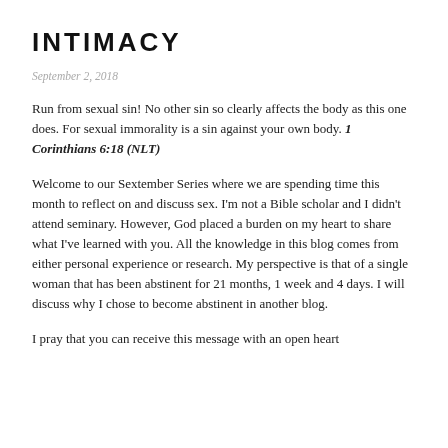INTIMACY
September 2, 2018
Run from sexual sin! No other sin so clearly affects the body as this one does. For sexual immorality is a sin against your own body. 1 Corinthians 6:18 (NLT)
Welcome to our Sextember Series where we are spending time this month to reflect on and discuss sex. I'm not a Bible scholar and I didn't attend seminary. However, God placed a burden on my heart to share what I've learned with you. All the knowledge in this blog comes from either personal experience or research. My perspective is that of a single woman that has been abstinent for 21 months, 1 week and 4 days. I will discuss why I chose to become abstinent in another blog.
I pray that you can receive this message with an open heart